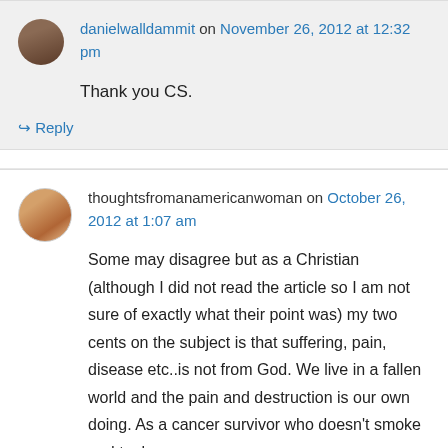danielwalldammit on November 26, 2012 at 12:32 pm
Thank you CS.
↳ Reply
thoughtsfromanamericanwoman on October 26, 2012 at 1:07 am
Some may disagree but as a Christian (although I did not read the article so I am not sure of exactly what their point was) my two cents on the subject is that suffering, pain, disease etc..is not from God. We live in a fallen world and the pain and destruction is our own doing. As a cancer survivor who doesn't smoke and took